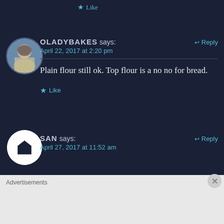★ Like
OLADYBAKES says: ↩ Reply
April 22, 2017 at 2:20 pm
Plain flour still ok. Top flour is a no no for bread.
★ Like
SAN says: ↩ Reply
April 27, 2017 at 11:52 am
Advertisements